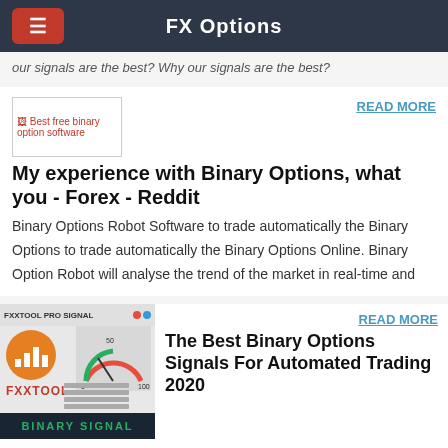FX Options
our signals are the best? Why our signals are the best?
[Figure (screenshot): Broken image placeholder with alt text: Best free binary option software]
READ MORE
My experience with Binary Options, what you - Forex - Reddit
Binary Options Robot Software to trade automatically the Binary Options to trade automatically the Binary Options Online. Binary Option Robot will analyse the trend of the market in real-time and
[Figure (screenshot): FXXTOOL PRO SIGNAL promotional image showing trading signal interface with orange circular logo with bar chart icon, FXXTOOL label in red, BINARY SIGNAL text in green on dark background]
READ MORE
The Best Binary Options Signals For Automated Trading 2020
2017/11/01 · Automated Option Trading Software Review. Over the last couple of years, there have been some innovations in the binary options industry, those innovations aim to make trading